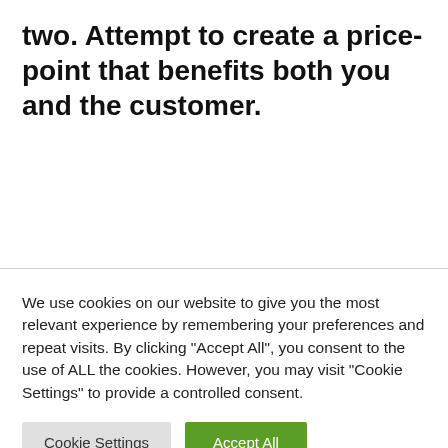two. Attempt to create a price-point that benefits both you and the customer.
We use cookies on our website to give you the most relevant experience by remembering your preferences and repeat visits. By clicking "Accept All", you consent to the use of ALL the cookies. However, you may visit "Cookie Settings" to provide a controlled consent.